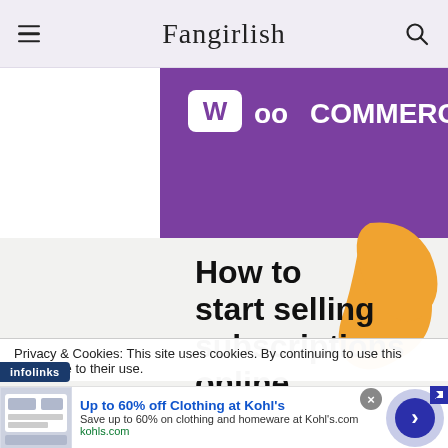Fangirlish
[Figure (illustration): WooCommerce promotional image with purple background, white WooCommerce logo at top, and an orange decorative shape on the right. Below on light gray background: bold black text reading 'How to start selling subscriptions online']
Privacy & Cookies: This site uses cookies. By continuing to use this you agree to their use.
[Figure (infographic): Infolinks advertisement badge in dark blue, and a Kohl's ad banner showing 'Up to 60% off Clothing at Kohl's', 'Save up to 60% on clothing and homeware at Kohl's.com', 'kohls.com', with a thumbnail image of Kohl's store, a close button, and a large arrow button.]